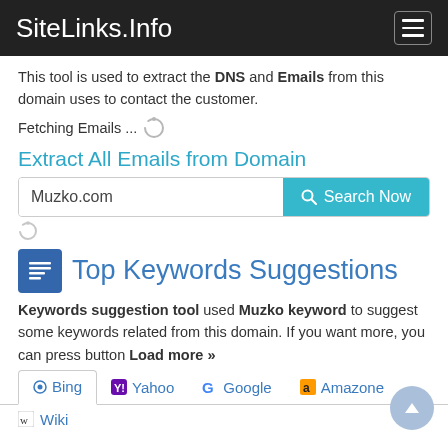SiteLinks.Info
This tool is used to extract the DNS and Emails from this domain uses to contact the customer.
Fetching Emails ...
Extract All Emails from Domain
Muzko.com
Top Keywords Suggestions
Keywords suggestion tool used Muzko keyword to suggest some keywords related from this domain. If you want more, you can press button Load more »
Bing  Yahoo  Google  Amazone
Wiki